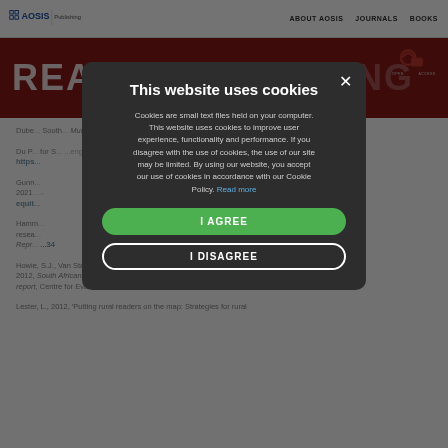AOSIS Publishing | ABOUT AOSIS | JOURNALS | BOOKS
READING & WRITING
Dube... South... Multilingual...  https...
Du P... for S... https...
Gunn... 2021... equit...
Hamm... research... Repr... 134
Howie, S.J., Van Staden, S., Tshele, M., Dowse, C. & Zimmerman, L., 2012, South African children's reading literacy achievement summary report, Centre for Evaluation and Assessment, Pretoria.
Lester, L., 2012, 'Putting rural readers on the map: Strategies for rural
This website uses cookies

Cookies are small text files held on your computer. This website uses cookies to improve user experience, functionality and performance. If you disagree with the use of cookies, the use of our site may be limited. By using our website, you accept our use of cookies in accordance with our Cookie Policy. Read more

I AGREE

I DISAGREE